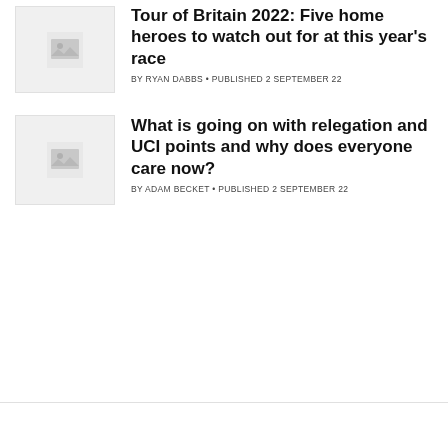[Figure (photo): Placeholder thumbnail image for article 1]
Tour of Britain 2022: Five home heroes to watch out for at this year's race
BY RYAN DABBS • PUBLISHED 2 SEPTEMBER 22
[Figure (photo): Placeholder thumbnail image for article 2]
What is going on with relegation and UCI points and why does everyone care now?
BY ADAM BECKET • PUBLISHED 2 SEPTEMBER 22